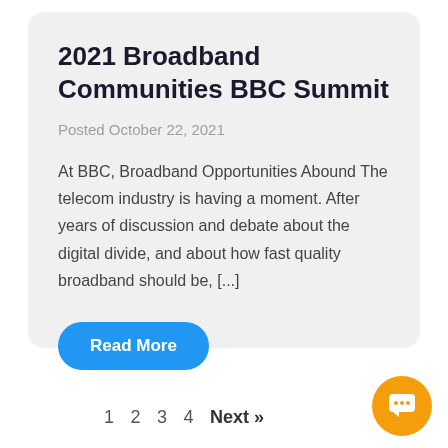2021 Broadband Communities BBC Summit
Posted October 22, 2021
At BBC, Broadband Opportunities Abound The telecom industry is having a moment. After years of discussion and debate about the digital divide, and about how fast quality broadband should be, [...]
Read More
1  2  3  4  Next »